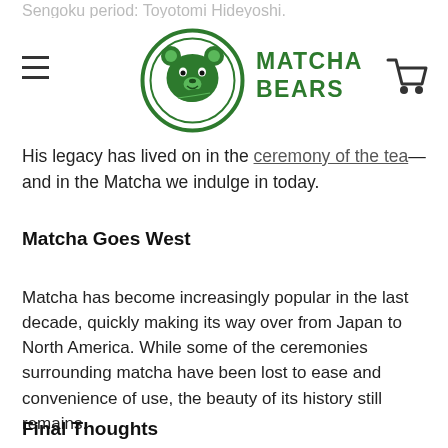MATCHA BEARS (logo/navigation header)
Sengoku period: Toyotomi Hideyoshi.
His legacy has lived on in the ceremony of the tea—and in the Matcha we indulge in today.
Matcha Goes West
Matcha has become increasingly popular in the last decade, quickly making its way over from Japan to North America. While some of the ceremonies surrounding matcha have been lost to ease and convenience of use, the beauty of its history still remains.
Final Thoughts